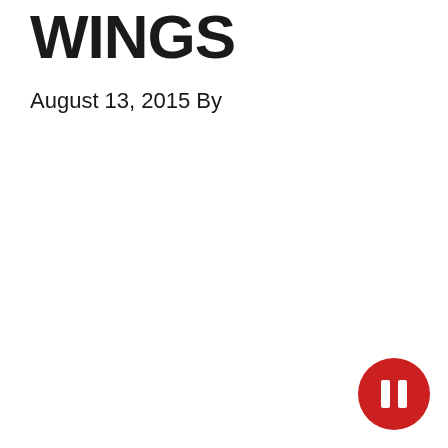WINGS
August 13, 2015 By
[Figure (other): Red circular pause button icon in the bottom-right corner of the page]